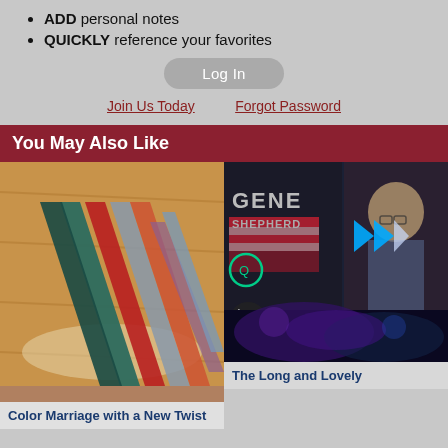ADD personal notes
QUICKLY reference your favorites
Log In
Join Us Today   Forgot Password
You May Also Like
[Figure (photo): Photo of colorful fabric or quilt strips fanned out on a wooden surface]
[Figure (screenshot): Video player showing Gene Shepherd with play button overlay and mute button, split with a dark cosmic nebula image below]
Color Marriage with a New Twist
The Long and Lovely